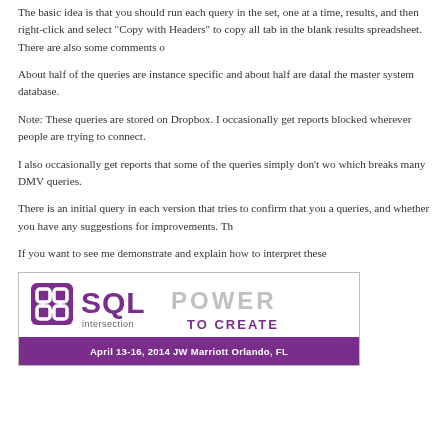The basic idea is that you should run each query in the set, one at a time, results, and then right-click and select "Copy with Headers" to copy all tab in the blank results spreadsheet. There are also some comments o
About half of the queries are instance specific and about half are datal the master system database.
Note: These queries are stored on Dropbox. I occasionally get reports blocked wherever people are trying to connect.
I also occasionally get reports that some of the queries simply don't wo which breaks many DMV queries.
There is an initial query in each version that tries to confirm that you a queries, and whether you have any suggestions for improvements. Th
If you want to see me demonstrate and explain how to interpret these
[Figure (illustration): SQL Intersection conference banner: SQL logo with chain-link icon, 'SQL intersection' branding, 'POWER TO CREATE' tagline, 'April 13-16, 2014 JW Marriott Orlando, FL' at bottom on purple background.]